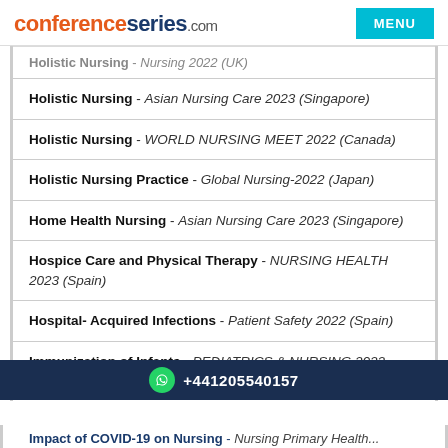conferenceseries.com | MENU
Holistic Nursing - Nursing 2022 (UK)
Holistic Nursing - Asian Nursing Care 2023 (Singapore)
Holistic Nursing - WORLD NURSING MEET 2022 (Canada)
Holistic Nursing Practice - Global Nursing-2022 (Japan)
Home Health Nursing - Asian Nursing Care 2023 (Singapore)
Hospice Care and Physical Therapy - NURSING HEALTH 2023 (Spain)
Hospital- Acquired Infections - Patient Safety 2022 (Spain)
Immunization of Infants - PEDIATRICS & NURSING 2022 (Czech Republic)
+441205540157
Impact of COVID-19 on Nursing - Nursing Primary Health...